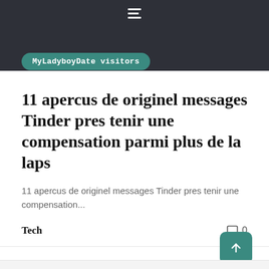☰ (hamburger menu icon)
MyLadyboyDate visitors
11 apercus de originel messages Tinder pres tenir une compensation parmi plus de la laps
11 apercus de originel messages Tinder pres tenir une compensation...
Tech
0